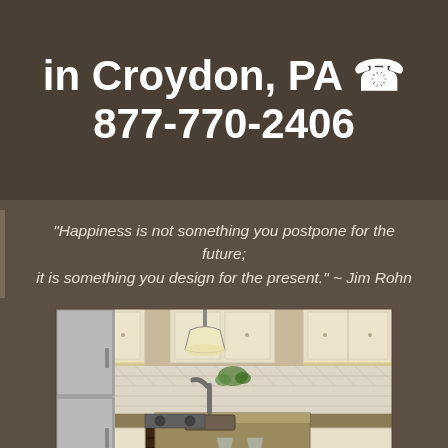in Croydon, PA ☎ 877-770-2406
“Happiness is not something you postpone for the future; it is something you design for the present.” ~ Jim Rohn
[Figure (photo): A luxury kitchen with cream/antique white cabinetry, granite countertops with a kitchen island, stainless steel refrigerator and appliances, a pendant light overhead, and place settings on the island.]
Touch to Call!